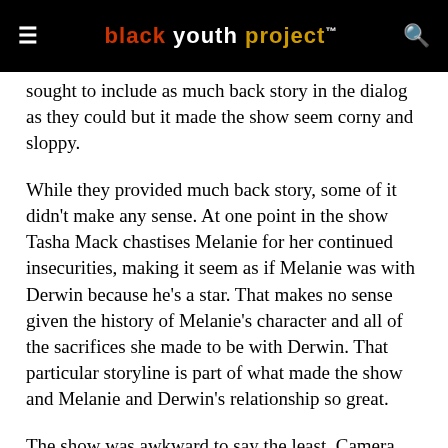black youth project™
sought to include as much back story in the dialog as they could but it made the show seem corny and sloppy.
While they provided much back story, some of it didn't make any sense. At one point in the show Tasha Mack chastises Melanie for her continued insecurities, making it seem as if Melanie was with Derwin because he's a star. That makes no sense given the history of Melanie's character and all of the sacrifices she made to be with Derwin. That particular storyline is part of what made the show and Melanie and Derwin's relationship so great.
The show was awkward to say the least. Camera angles were weird, the laugh track was off, Tasha Mack was sucking on a Black and Mild even though there was never an indication in